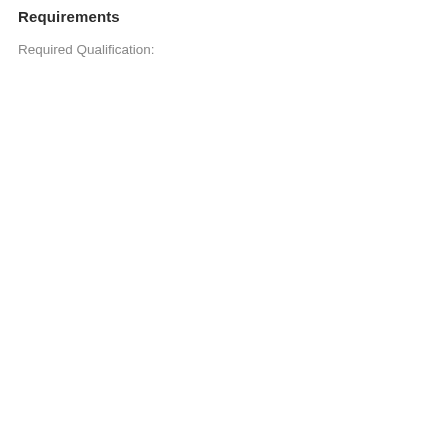Requirements
Required Qualification: